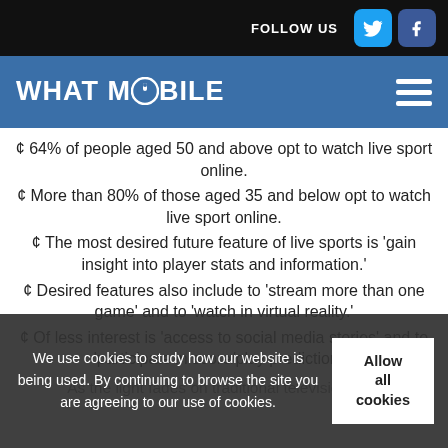FOLLOW US
WHAT MOBILE
¢ 64% of people aged 50 and above opt to watch live sport online.
¢ More than 80% of those aged 35 and below opt to watch live sport online.
¢ The most desired future feature of live sports is 'gain insight into player stats and information.'
¢ Desired features also include to 'stream more than one game' and to 'watch in virtual reality.'
¢ Of less interest is 'access to social media stories' and to 'participate in score/play predictions.'
As the light fades on traditional television sets…
We use cookies to study how our website is being used. By continuing to browse the site you are agreeing to our use of cookies.